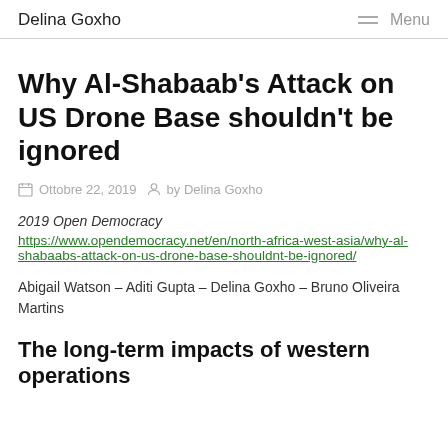Delina Goxho  Menu
Why Al-Shabaab's Attack on US Drone Base shouldn't be ignored
Ottobre 22, 2019  by Delina Goxho
2019 Open Democracy
https://www.opendemocracy.net/en/north-africa-west-asia/why-al-shabaabs-attack-on-us-drone-base-shouldnt-be-ignored/
Abigail Watson – Aditi Gupta – Delina Goxho – Bruno Oliveira Martins
The long-term impacts of western operations